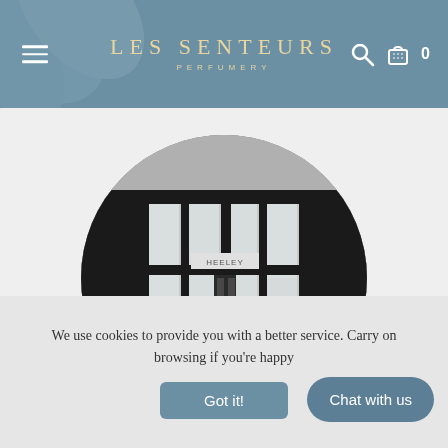LES SENTEURS PERFUMERY
[Figure (photo): Black and white photo of a Heeley storefront with large glass windows and doors, shown in a circular crop]
We use cookies to provide you with a better service. Carry on browsing if you're happy
Got it!
Chat with us